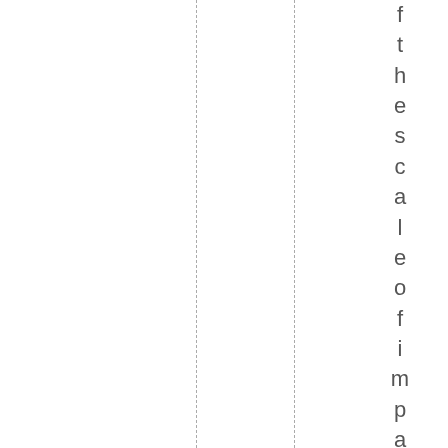f t h e s c a l e o f i m p a c t . o r t h e n u